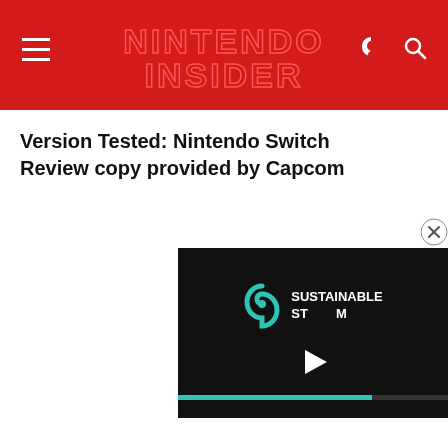NINTENDO INSIDER
Version Tested: Nintendo Switch
Review copy provided by Capcom
[Figure (screenshot): Embedded video player overlay showing 'Sustainable Stream' branding with a play button and teal progress bar on a dark background]